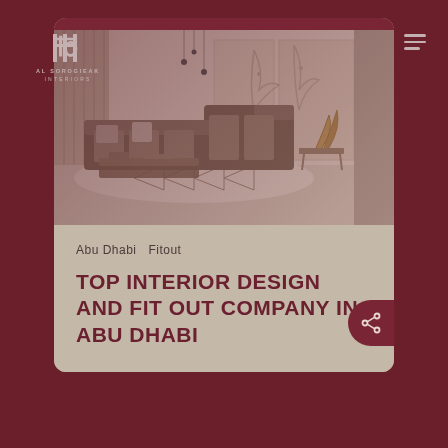[Figure (logo): Al Sorogieak Interiors logo with stylized double-H monogram and text below]
[Figure (photo): Interior design photo showing a luxury living room with large L-shaped sofa, decorative pillows, glass coffee table, geometric patterned rug, ornate wall panels, and a sculptural gold decorative piece]
Abu Dhabi   Fitout
TOP INTERIOR DESIGN AND FIT OUT COMPANY IN ABU DHABI